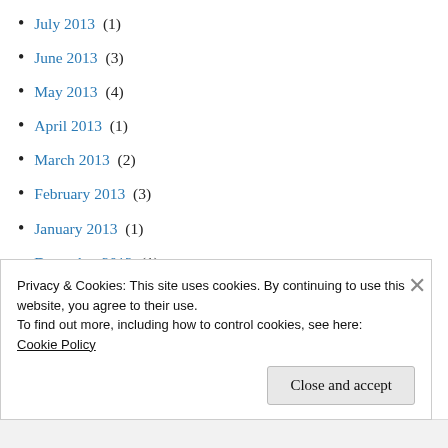July 2013 (1)
June 2013 (3)
May 2013 (4)
April 2013 (1)
March 2013 (2)
February 2013 (3)
January 2013 (1)
December 2012 (1)
November 2012 (2)
September 2012 (1)
July 2012 (1)
Privacy & Cookies: This site uses cookies. By continuing to use this website, you agree to their use.
To find out more, including how to control cookies, see here:
Cookie Policy
Close and accept